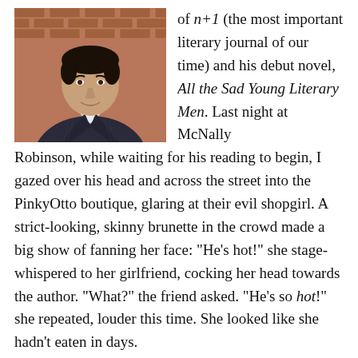[Figure (photo): Headshot of a man in a dark pinstripe suit, smiling slightly, with a brick wall background.]
of n+1 (the most important literary journal of our time) and his debut novel, All the Sad Young Literary Men. Last night at McNally Robinson, while waiting for his reading to begin, I gazed over his head and across the street into the PinkyOtto boutique, glaring at their evil shopgirl. A strict-looking, skinny brunette in the crowd made a big show of fanning her face: "He's hot!" she stage-whispered to her girlfriend, cocking her head towards the author. "What?" the friend asked. "He's so hot!" she repeated, louder this time. She looked like she hadn't eaten in days.
Anyway, the reviews are in. And boy are there reviews!